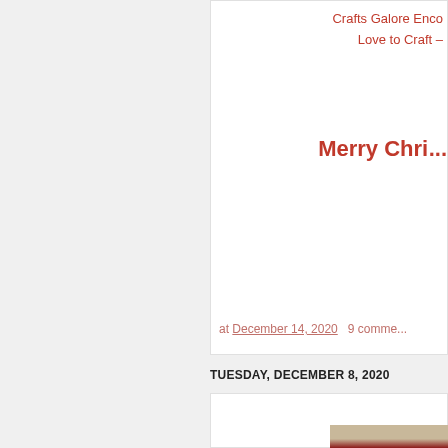Crafts Galore Enco
Love to Craft -
Merry Chr...
at December 14, 2020   9 comme...
TUESDAY, DECEMBER 8, 2020
Holly Angel on Ornament
[Figure (photo): Partial view of a Christmas ornament craft image]